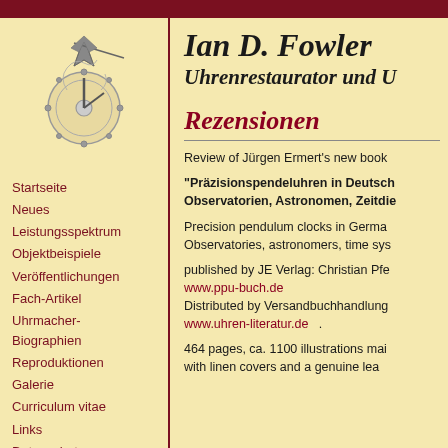[Figure (logo): Clock/compass decorative illustration in grey tones]
Ian D. Fowler
Uhrenrestaurator und U
Rezensionen
Startseite
Neues
Leistungsspektrum
Objektbeispiele
Veröffentlichungen
Fach-Artikel
Uhrmacher-Biographien
Reproduktionen
Galerie
Curriculum vitae
Links
Datenschutz
Review of Jürgen Ermert's new book
"Präzisionspendeluhren in Deutsch Observatorien, Astronomen, Zeitdie
Precision pendulum clocks in Germa Observatories, astronomers, time sys
published by JE Verlag: Christian Pfe
www.ppu-buch.de
Distributed by Versandbuchhandlung
www.uhren-literatur.de  .
464 pages, ca. 1100 illustrations mai with linen covers and a genuine lea